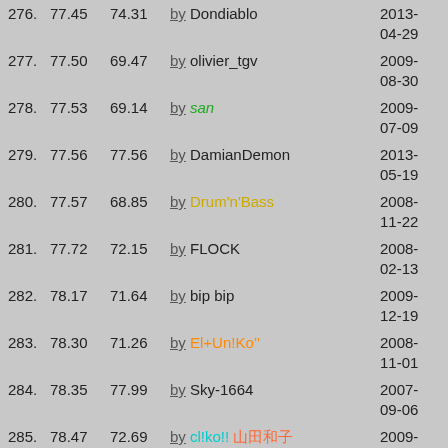276. 77.45  74.31  by Dondiablo  2013-04-29
277. 77.50  69.47  by olivier_tgv  2009-08-30
278. 77.53  69.14  by san  2009-07-09
279. 77.56  77.56  by DamianDemon  2013-05-19
280. 77.57  68.85  by Drum'n'Bass  2008-11-22
281. 77.72  72.15  by FLOCK  2008-02-13
282. 78.17  71.64  by bip bip  2009-12-19
283. 78.30  71.26  by El+Un!Ko''  2008-11-01
284. 78.35  77.99  by Sky-1664  2007-09-06
285. 78.47  72.69  by cl!ko!! [CJK]  2009-05-23
286. 78.50  72.76  by PION  2009-06-06